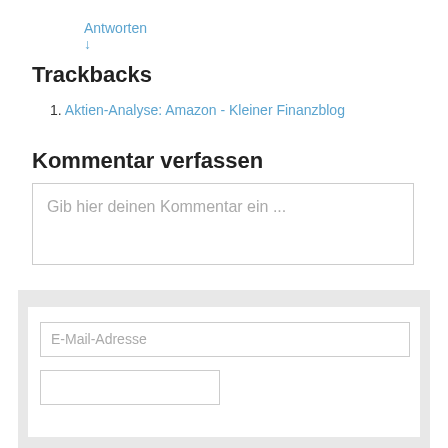Antworten ↓
Trackbacks
1. Aktien-Analyse: Amazon - Kleiner Finanzblog
Kommentar verfassen
Gib hier deinen Kommentar ein ...
E-Mail-Adresse